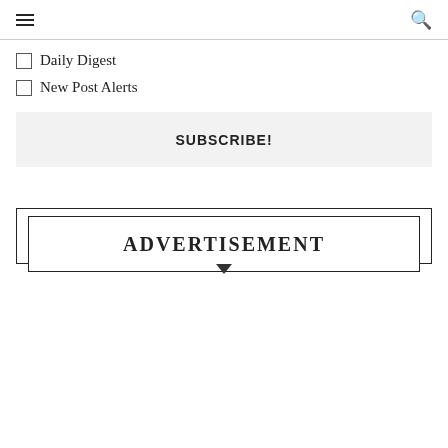☰ 🔍
Daily Digest
New Post Alerts
SUBSCRIBE!
ADVERTISEMENT